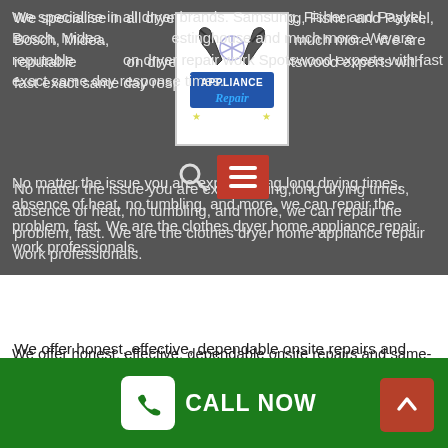We specialise in all dryer brands. Samsung, Fisher and Paykel, Bosch, Midea, Westinghouse and much more. We are reputable on dryer repair work Spotswood experts with fast exact same day response times.
[Figure (logo): Appliance Repair logo with two wrenches crossed, white background, square border]
[Figure (infographic): Search icon (magnifying glass) and red hamburger menu button]
No matter the issue you are experiencing, long drying times, absence of heat, no tumbling, and more, we can repair the problem, fast. We are the clothes dryer home appliance repair work professionals.
We offer honest, effective, dependable onsite repairs and same-day service for all types of property and industrial appliances, consisting of fridges and ranges, washers and dryers, furnaces and cooling units.
Washing Machine Repairs In Spotswood
[Figure (infographic): Green footer bar with white phone icon button labeled CALL NOW and a red scroll-to-top arrow button]